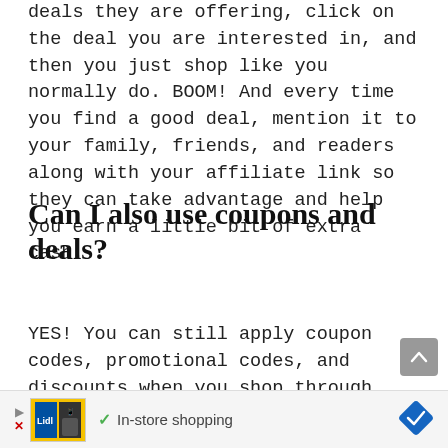deals they are offering, click on the deal you are interested in, and then you just shop like you normally do. BOOM! And every time you find a good deal, mention it to your family, friends, and readers along with your affiliate link so they can take advantage and help you earn a little bit of extra cash.
Can I also use coupons and deals?
YES! You can still apply coupon codes, promotional codes, and discounts when you shop through Ebates. I do it all the time!